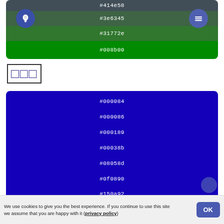[Figure (infographic): Color palette card showing hex color codes #414e58 (dark gray-blue), #3e6345 (dark green with lightbulb and menu icons), #31772e (medium green), #008b00 (bright green), with circular icon buttons on left and right.]
□□□
[Figure (infographic): Dark blue color palette card showing hex color codes #000084, #000086, #000189, #00038b, #08058d, #0f0890, #150a92 stacked vertically.]
We use cookies to give you the best experience. If you continue to use this site we assume that you are happy with it (privacy policy)